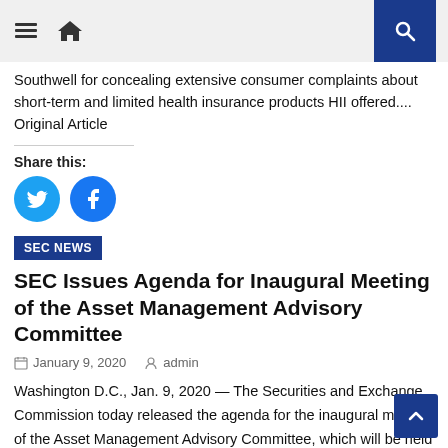Home | Menu | Search
Southwell for concealing extensive consumer complaints about short-term and limited health insurance products HII offered.... Original Article
Share this:
[Figure (other): Twitter and Facebook social share buttons]
SEC NEWS
SEC Issues Agenda for Inaugural Meeting of the Asset Management Advisory Committee
January 9, 2020   admin
Washington D.C., Jan. 9, 2020 — The Securities and Exchange Commission today released the agenda for the inaugural meeting of the Asset Management Advisory Committee, which will be held on Jan. 14, 2020, at 9 a.m. ET. The Committee was formed to provide the Commission with diverse perspectives on asset management and